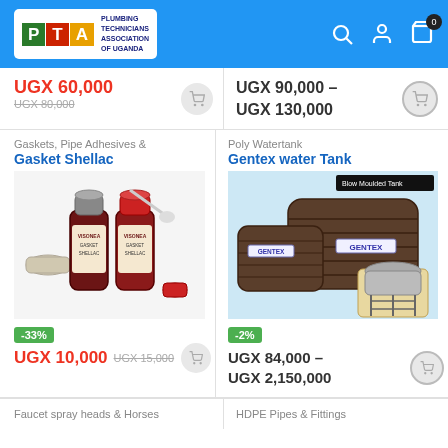PTA – Plumbing Technicians Association of Uganda
UGX 60,000 (was UGX 80,000)
UGX 90,000 – UGX 130,000
Gaskets, Pipe Adhesives &
Gasket Shellac
[Figure (photo): Two small bottles of Visonea Gasket Shellac adhesive with applicator brushes and cap]
-33%
UGX 10,000  UGX 15,000
Poly Watertank
Gentex water Tank
[Figure (photo): Two large brown Gentex poly water tanks (Blow Moulded) with a smaller tank on raised stand in background]
-2%
UGX 84,000 – UGX 2,150,000
Faucet spray heads & Horses
HDPE Pipes & Fittings